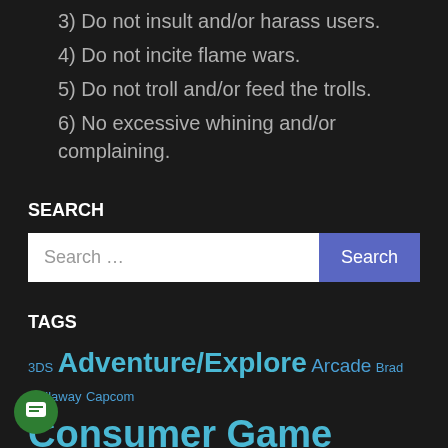3) Do not insult and/or harass users.
4) Do not incite flame wars.
5) Do not troll and/or feed the trolls.
6) No excessive whining and/or complaining.
SEARCH
Search ...
TAGS
3DS Adventure/Explore Arcade Brad Gallaway Capcom Consumer Game Guides Dreamcast Driving Editorials Everyone Everyone 10+ Fighting GameCube Game Design & Dev Game Reviews Horror Humor indie Mature